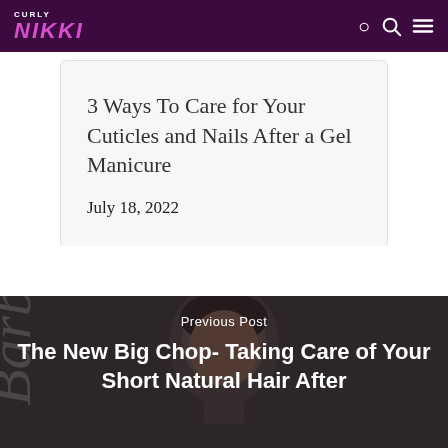CURLY NIKKI
3 Ways To Care for Your Cuticles and Nails After a Gel Manicure
July 18, 2022
[Figure (photo): Dark background photo of a woman with short natural hair, used as background for a post navigation card]
Previous Post
The New Big Chop- Taking Care of Your Short Natural Hair After